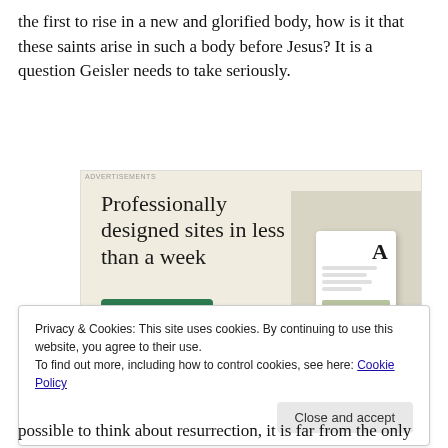the first to rise in a new and glorified body, how is it that these saints arise in such a body before Jesus? It is a question Geisler needs to take seriously.
[Figure (screenshot): Advertisement banner with beige background showing 'Professionally designed sites in less than a week' with a green 'Explore options' button and a mockup of website screens on the right side. Labeled 'Advertisements' at the top.]
Privacy & Cookies: This site uses cookies. By continuing to use this website, you agree to their use.
To find out more, including how to control cookies, see here: Cookie Policy
Close and accept
possible to think about resurrection, it is far from the only...